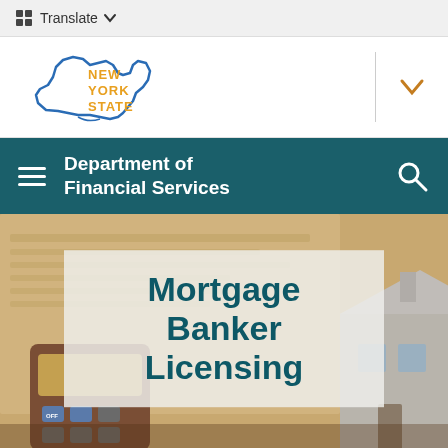Translate
[Figure (logo): New York State logo with outline of NY state in blue and 'NEW YORK STATE' text in orange]
Department of Financial Services
Mortgage Banker Licensing
[Figure (photo): Background photo showing a calculator, mortgage paperwork documents, and a model house, representing mortgage and real estate topics]